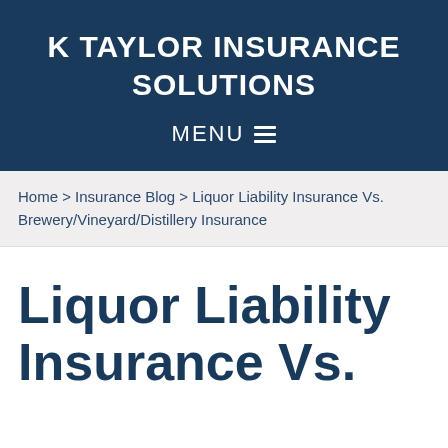K TAYLOR INSURANCE SOLUTIONS
MENU
Home > Insurance Blog > Liquor Liability Insurance Vs. Brewery/Vineyard/Distillery Insurance
Liquor Liability Insurance Vs.